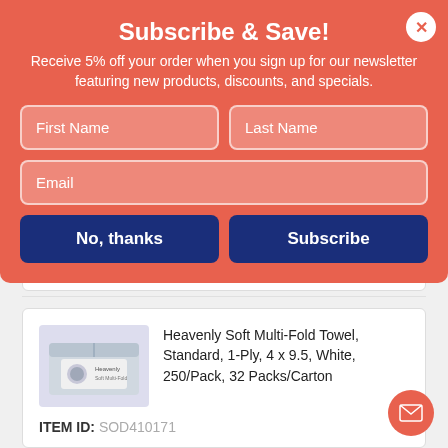Subscribe & Save!
Receive 5% off your order when you sign up for our newsletter featuring new products, discounts, and specials.
First Name
Last Name
Email
No, thanks
Subscribe
In Stock
Heavenly Soft Multi-Fold Towel, Standard, 1-Ply, 4 x 9.5, White, 250/Pack, 32 Packs/Carton
ITEM ID: SOD410171
$58.09 CT